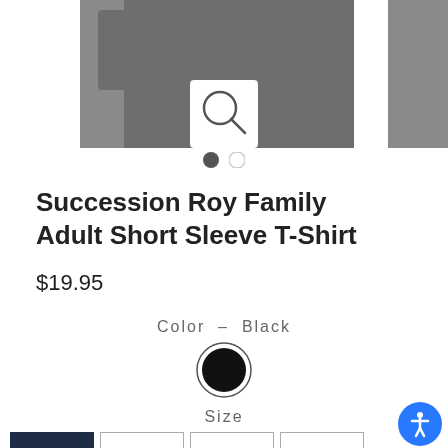[Figure (photo): Product image of a dark gray t-shirt shown on a white background, partially cropped. A magnifying glass search icon overlays the center. Additional product image thumbnails visible on left and right edges.]
● ○
Succession Roy Family Adult Short Sleeve T-Shirt
$19.95
Color — Black
[Figure (other): Black circular color swatch with a dark ring border, indicating the Black color option is selected.]
Size
SM  M  L  XL
[Figure (other): Blue circular accessibility icon button in the bottom-right corner.]